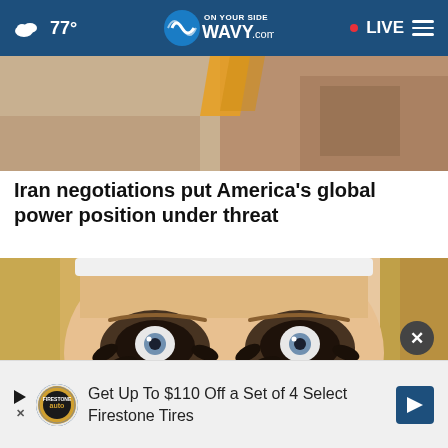77° | WAVY.com ON YOUR SIDE | LIVE
[Figure (photo): Partial top photo showing interior room scene, cropped at top]
Iran negotiations put America's global power position under threat
[Figure (photo): Close-up photo of a woman with dramatic dark chunky eye makeup/mascara, blonde hair, pink nails, applying makeup]
Get Up To $110 Off a Set of 4 Select Firestone Tires